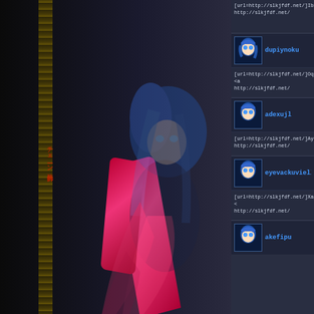[Figure (screenshot): Forum/message board interface with dark anime-themed background (blue-haired character, pink ribbons). Left sidebar shows decorative elements. Right panel shows forum posts with avatars.]
[url=http://slkjfdf.net/]Ibedopvew[/url]
http://slkjfdf.net/
dupiynoku
[url=http://slkjfdf.net/]Oqobut[/url] <a
http://slkjfdf.net/
adexujl
[url=http://slkjfdf.net/]Ayejjavha[/url]
http://slkjfdf.net/
eyevackuviell
[url=http://slkjfdf.net/]Xajiwiri[/url] <
http://slkjfdf.net/
akefipu